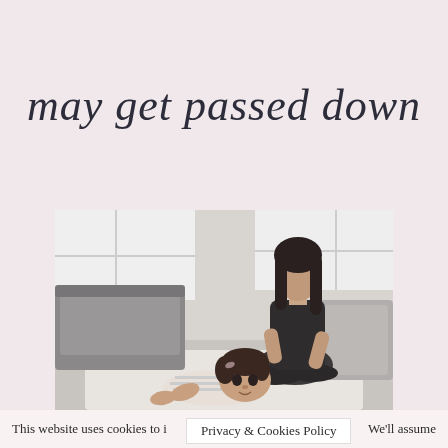may get passed down
[Figure (photo): Black and white photo of a mother sitting cross-legged on a rug in a living room, watching her baby/toddler lying on their stomach on the rug in the foreground, looking at the camera.]
This website uses cookies to i... Privacy & Cookies Policy We'll assume